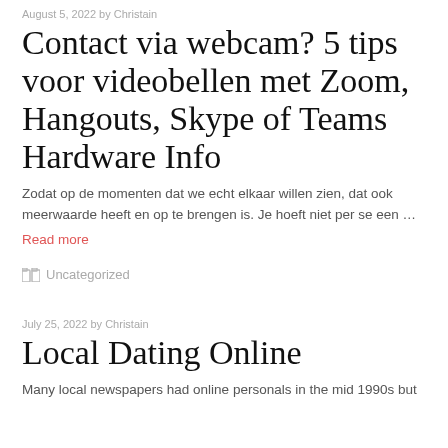August 5, 2022 by Christain
Contact via webcam? 5 tips voor videobellen met Zoom, Hangouts, Skype of Teams Hardware Info
Zodat op de momenten dat we echt elkaar willen zien, dat ook meerwaarde heeft en op te brengen is. Je hoeft niet per se een …
Read more
Uncategorized
July 25, 2022 by Christain
Local Dating Online
Many local newspapers had online personals in the mid 1990s but